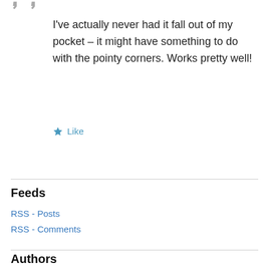I've actually never had it fall out of my pocket – it might have something to do with the pointy corners. Works pretty well!
★ Like
Feeds
RSS - Posts
RSS - Comments
Authors
redshift
blue midget
bulk